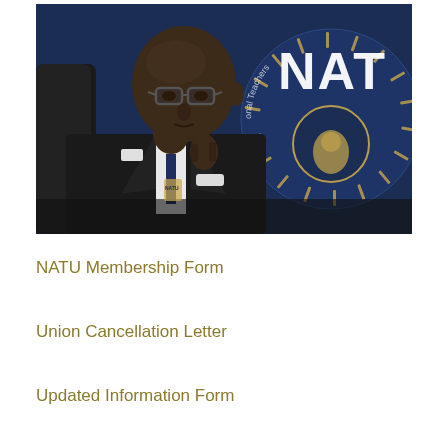[Figure (photo): A man in a dark suit and glasses sitting in a chair with his hand raised to his chin in a thoughtful pose, in front of a dark blue background with a NATU (National Association of Teachers Union) logo/seal visible.]
NATU Membership Form
Union Cancellation Letter
Updated Information Form